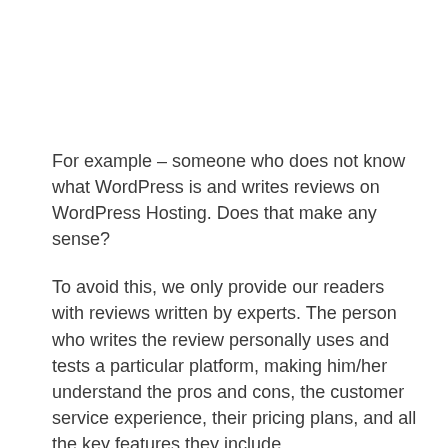For example – someone who does not know what WordPress is and writes reviews on WordPress Hosting. Does that make any sense?
To avoid this, we only provide our readers with reviews written by experts. The person who writes the review personally uses and tests a particular platform, making him/her understand the pros and cons, the customer service experience, their pricing plans, and all the key features they include.